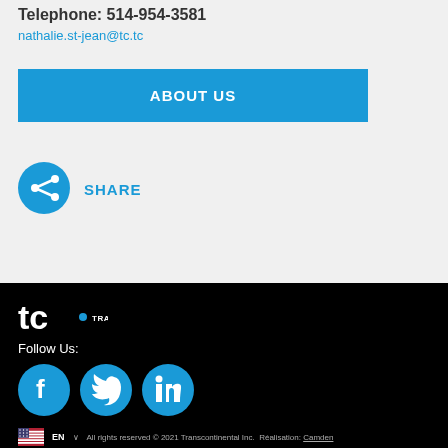Telephone: 514-954-3581
nathalie.st-jean@tc.tc
ABOUT US
[Figure (infographic): Blue circular share icon with white share/network symbol]
SHARE
[Figure (logo): TC Transcontinental logo in white on black background]
Follow Us:
[Figure (infographic): Social media icons: Facebook, Twitter, LinkedIn in blue circles]
All rights reserved © 2021 Transcontinental Inc. Realisation: Camden